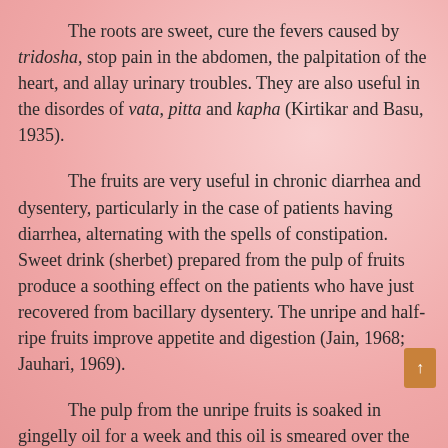The roots are sweet, cure the fevers caused by tridosha, stop pain in the abdomen, the palpitation of the heart, and allay urinary troubles. They are also useful in the disordes of vata, pitta and kapha (Kirtikar and Basu, 1935).
The fruits are very useful in chronic diarrhea and dysentery, particularly in the case of patients having diarrhea, alternating with the spells of constipation. Sweet drink (sherbet) prepared from the pulp of fruits produce a soothing effect on the patients who have just recovered from bacillary dysentery. The unripe and half-ripe fruits improve appetite and digestion (Jain, 1968; Jauhari, 1969).
The pulp from the unripe fruits is soaked in gingelly oil for a week and this oil is smeared over the body before bathing. This oil is said to be useful in removing the peculiar burning sensation in the soles